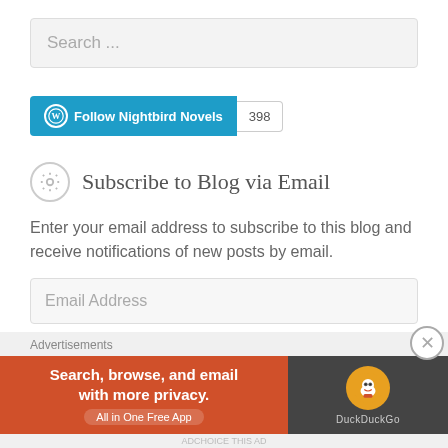Search ...
[Figure (other): Follow Nightbird Novels WordPress follow button with count 398]
Subscribe to Blog via Email
Enter your email address to subscribe to this blog and receive notifications of new posts by email.
Email Address
SUBSCRIBE
Advertisements
[Figure (other): DuckDuckGo advertisement banner: Search, browse, and email with more privacy. All in One Free App]